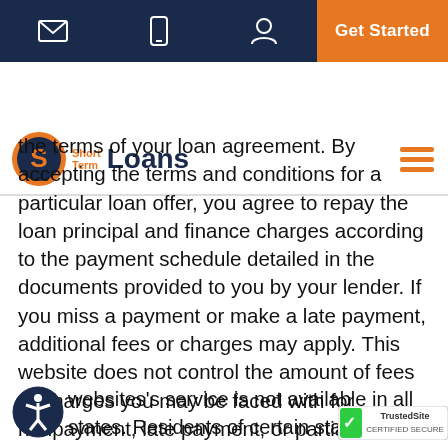[Figure (screenshot): Website navigation bar with email, phone, user icons and orange Get Started button on dark blue background]
[Figure (logo): Short Term Loans logo with circular S icon and hamburger menu]
the terms of your loan agreement. By accepting the terms and conditions for a particular loan offer, you agree to repay the loan principal and finance charges according to the payment schedule detailed in the documents provided to you by your lender. If you miss a payment or make a late payment, additional fees or charges may apply. This website does not control the amount of fees or charges you may be faced with for nonpayment, late payment, or partial payment.
AVAILABILITY
websites's service is not available in all states. Residents of certain states, incluc